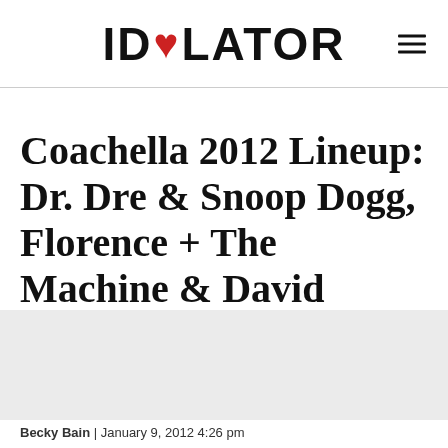IDOLATOR
Coachella 2012 Lineup: Dr. Dre & Snoop Dogg, Florence + The Machine & David Guetta To Play
[Figure (photo): Gray placeholder image area beneath article title]
Becky Bain | January 9, 2012 4:26 pm